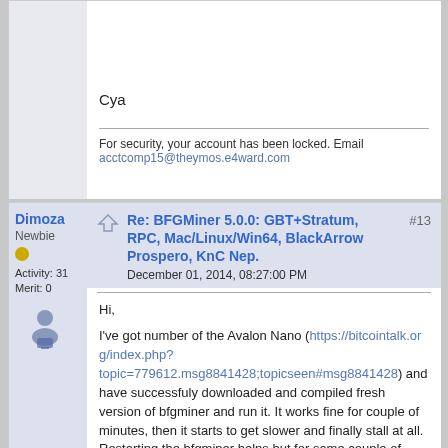Cya
For security, your account has been locked. Email acctcomp15@theymos.e4ward.com
Dimoza
Newbie
Activity: 31
Merit: 0
Re: BFGMiner 5.0.0: GBT+Stratum, RPC, Mac/Linux/Win64, BlackArrow Prospero, KnC Nep.
December 01, 2014, 08:27:00 PM
#13
Hi,

I've got number of the Avalon Nano (https://bitcointalk.org/index.php?topic=779612.msg8841428;topicseen#msg8841428) and have successfuly downloaded and compiled fresh version of bfgminer and run it. It works fine for couple of minutes, then it starts to get slower and finally stall at all. Restarting the bfgminer helps but for same couple of minutes.

I've got configuration here: